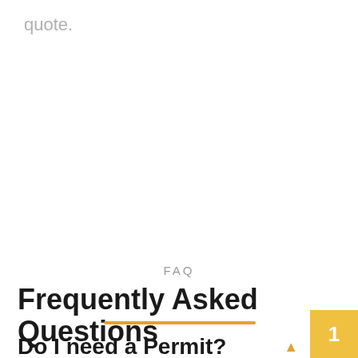quote.
FAQ
Frequently Asked Questions
Do I need a Permit?